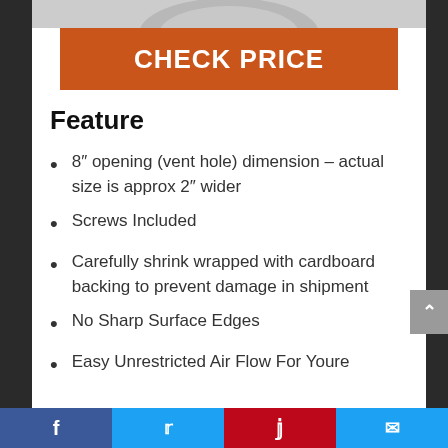[Figure (photo): Partial view of a round metal vent cover product at the top of the page]
CHECK PRICE
Feature
8″ opening (vent hole) dimension – actual size is approx 2″ wider
Screws Included
Carefully shrink wrapped with cardboard backing to prevent damage in shipment
No Sharp Surface Edges
Easy Unrestricted Air Flow For Youre
Facebook  Twitter  Pinterest  Email